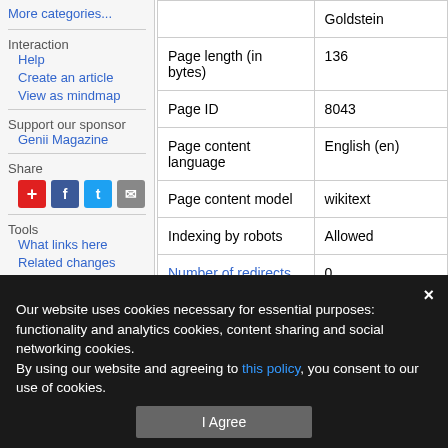More categories...
Interaction
Help
Create an article
View as mindmap
Support our sponsor
Genii Magazine
Share
Tools
What links here
Related changes
Special pages
Page information
| Property | Value |
| --- | --- |
|  | Goldstein |
| Page length (in bytes) | 136 |
| Page ID | 8043 |
| Page content language | English (en) |
| Page content model | wikitext |
| Indexing by robots | Allowed |
| Number of redirects to this page | 0 |
| page |  |
| Category information |  |
| Number of pages | 17 |
| Number of subcategories | 0 |
Our website uses cookies necessary for essential purposes: functionality and analytics cookies, content sharing and social networking cookies. By using our website and agreeing to this policy, you consent to our use of cookies.